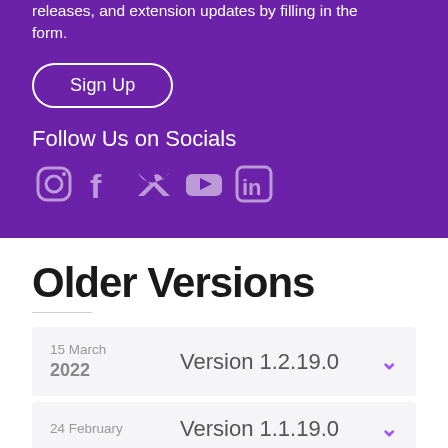releases, and extension updates by filling in the form.
Sign Up
Follow Us on Socials
[Figure (illustration): Social media icons: Instagram, Facebook, Twitter, YouTube, LinkedIn]
Older Versions
15 March 2022  Version 1.2.19.0
24 February  Version 1.1.19.0